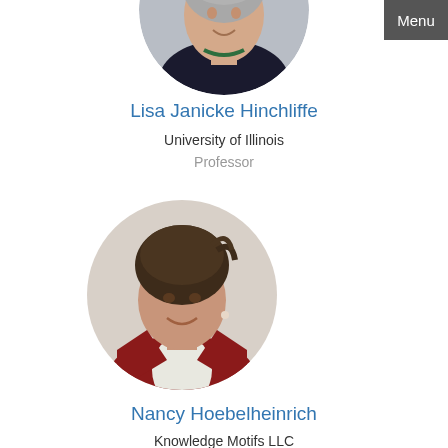[Figure (photo): Circular cropped photo of Lisa Janicke Hinchliffe, partially cut off at top, showing a woman with gray hair and a dark jacket with a green necklace]
Lisa Janicke Hinchliffe
University of Illinois
Professor
[Figure (photo): Circular cropped photo of Nancy Hoebelheinrich, showing a woman with short dark hair wearing a red vest over a white shirt, smiling]
Nancy Hoebelheinrich
Knowledge Motifs LLC
Principal
Menu